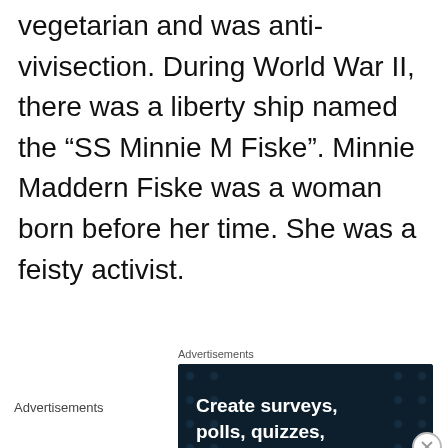vegetarian and was anti-vivisection. During World War II, there was a liberty ship named the “SS Minnie M Fiske”. Minnie Maddern Fiske was a woman born before her time. She was a feisty activist.
Advertisements
[Figure (screenshot): Advertisement banner for a survey/form creation service. Dark navy background with polka dot pattern. White bold text reading 'Create surveys, polls, quizzes, and forms.' with a pink rounded-rectangle button labeled 'Start now'.]
Advertisements